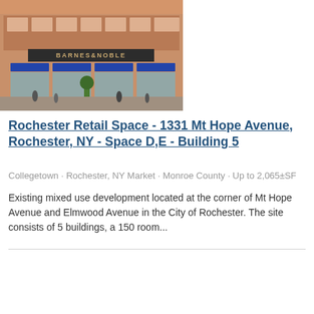[Figure (photo): Exterior photo of a mixed-use retail/apartment building with Barnes and Noble storefront, blue awnings, brick facade, pedestrians on sidewalk]
Rochester Retail Space - 1331 Mt Hope Avenue, Rochester, NY - Space D,E - Building 5
Collegetown · Rochester, NY Market · Monroe County · Up to 2,065±SF
Existing mixed use development located at the corner of Mt Hope Avenue and Elmwood Avenue in the City of Rochester. The site consists of 5 buildings, a 150 room...
[Figure (photo): Exterior photo of a modern single-story commercial retail building with AT&T branding, brown brick facade, glass storefront, green lawn, LEASE banner in top-left corner, number 7 badge in top-right corner]